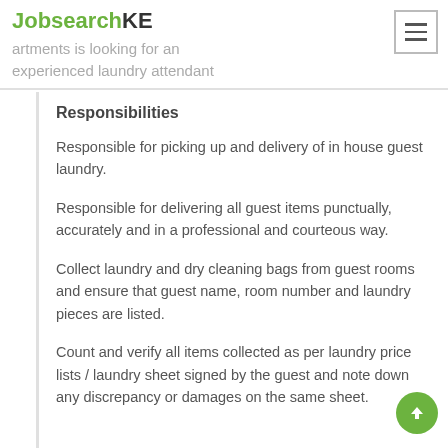JobsearchKE artments is looking for an experienced laundry attendant
Responsibilities
Responsible for picking up and delivery of in house guest laundry.
Responsible for delivering all guest items punctually, accurately and in a professional and courteous way.
Collect laundry and dry cleaning bags from guest rooms and ensure that guest name, room number and laundry pieces are listed.
Count and verify all items collected as per laundry price lists / laundry sheet signed by the guest and note down any discrepancy or damages on the same sheet.